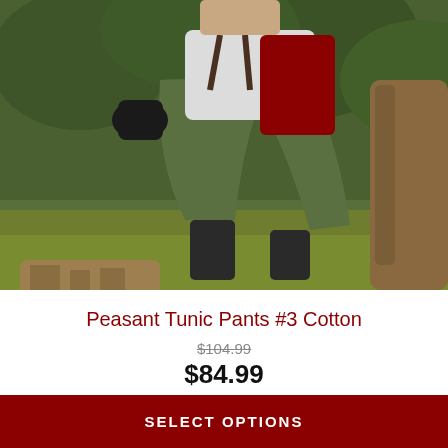[Figure (photo): Outdoor photo of a person wearing medieval peasant costume including olive green pants, white shirt, dark red tunic vest, black boots and gloves, posed near a tree stump with green foliage in background.]
Peasant Tunic Pants #3 Cotton
$104.99
$84.99
SELECT OPTIONS